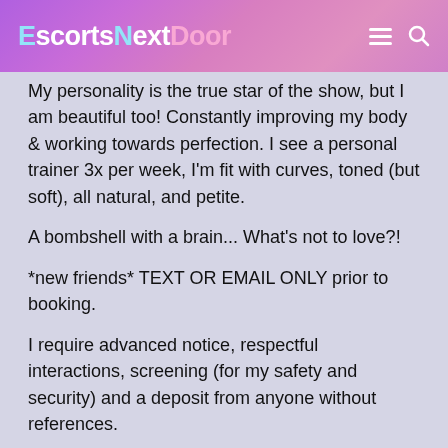EscortsNextDoor
My personality is the true star of the show, but I am beautiful too! Constantly improving my body & working towards perfection. I see a personal trainer 3x per week, I'm fit with curves, toned (but soft), all natural, and petite.
A bombshell with a brain... What's not to love?!
*new friends* TEXT OR EMAIL ONLY prior to booking.
I require advanced notice, respectful interactions, screening (for my safety and security) and a deposit from anyone without references.
Lunch/dinner dates